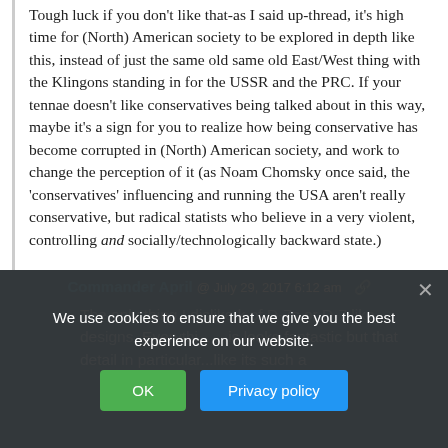Tough luck if you don't like that-as I said up-thread, it's high time for (North) American society to be explored in depth like this, instead of just the same old same old East/West thing with the Klingons standing in for the USSR and the PRC. If your tennae doesn't like conservatives being talked about in this way, maybe it's a sign for you to realize how being conservative has become corrupted in (North) American society, and work to change the perception of it (as Noam Chomsky once said, the 'conservatives' influencing and running the USA aren't really conservative, but radical statists who believe in a very violent, controlling and socially/technologically backward state.)
Commander April @ July 29, 2017 6:12 am
The only thing I dislike is the lack of D-7s or D-7 like designs. Everythi... ...is looks fantastic but that detail in particular...like its such a
We use cookies to ensure that we give you the best experience on our website.